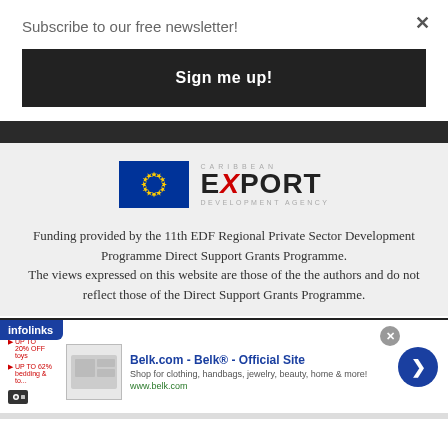Subscribe to our free newsletter!
Sign me up!
[Figure (logo): EU flag and Caribbean Export Development Agency logo]
Funding provided by the 11th EDF Regional Private Sector Development Programme Direct Support Grants Programme. The views expressed on this website are those of the the authors and do not reflect those of the Direct Support Grants Programme.
[Figure (infographic): Infolinks advertisement banner for Belk.com showing clothing and home items. Text: Belk.com - Belk® - Official Site, Shop for clothing, handbags, jewelry, beauty, home & more!, www.belk.com]